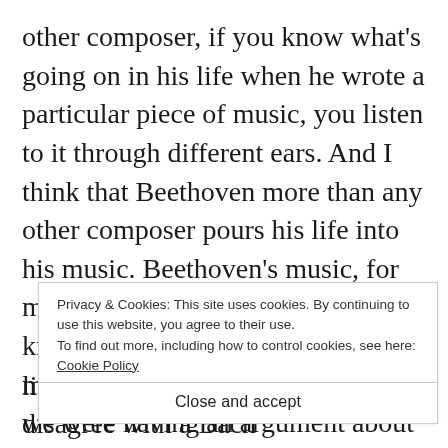other composer, if you know what's going on in his life when he wrote a particular piece of music, you listen to it through different ears. And I think that Beethoven more than any other composer pours his life into his music. Beethoven's music, for me, is his autobiography. If you know his life you hear his life in his music. Someone once said to me – we were having an argument about who's greatest, Bach, Mozart, or Beethoven; for him, the a t
Privacy & Cookies: This site uses cookies. By continuing to use this website, you agree to their use.
To find out more, including how to control cookies, see here: Cookie Policy
Close and accept
like to be immortal. I wouldn't disagree with a Bach